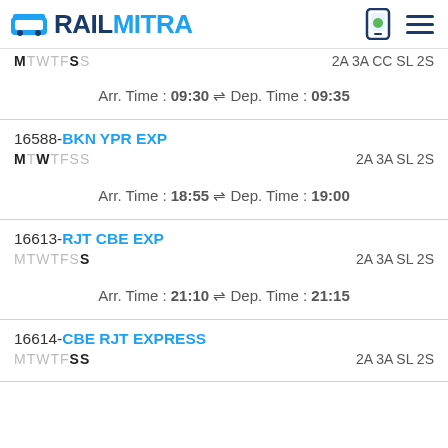RAILMITRA
MTWTFSS   2A 3A CC SL 2S
Arr. Time : 09:30 ⇌ Dep. Time : 09:35
16588-BKN YPR EXP
MTWTFSS   2A 3A SL 2S
Arr. Time : 18:55 ⇌ Dep. Time : 19:00
16613-RJT CBE EXP
MTWTFSS   2A 3A SL 2S
Arr. Time : 21:10 ⇌ Dep. Time : 21:15
16614-CBE RJT EXPRESS
MTWTFSS   2A 3A SL 2S